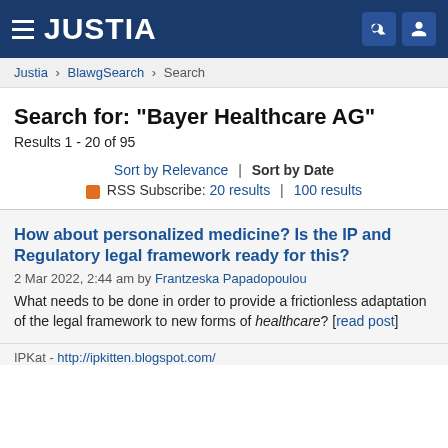JUSTIA
Justia > BlawgSearch > Search
Search for: "Bayer Healthcare AG"
Results 1 - 20 of 95
Sort by Relevance | Sort by Date
RSS Subscribe: 20 results | 100 results
How about personalized medicine? Is the IP and Regulatory legal framework ready for this?
2 Mar 2022, 2:44 am by Frantzeska Papadopoulou
What needs to be done in order to provide a frictionless adaptation of the legal framework to new forms of healthcare? [read post]
IPKat - http://ipkitten.blogspot.com/